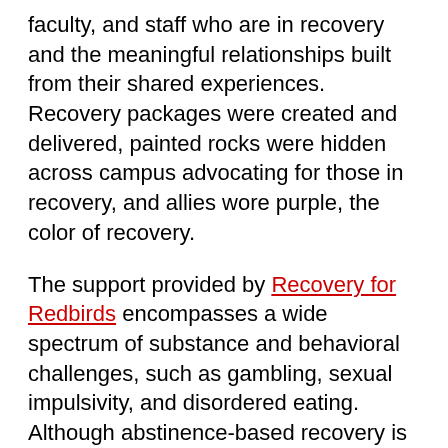faculty, and staff who are in recovery and the meaningful relationships built from their shared experiences. Recovery packages were created and delivered, painted rocks were hidden across campus advocating for those in recovery, and allies wore purple, the color of recovery.
The support provided by Recovery for Redbirds encompasses a wide spectrum of substance and behavioral challenges, such as gambling, sexual impulsivity, and disordered eating. Although abstinence-based recovery is the focus of those who are in the group at this time, recovery is defined by each individual student. For some, recovery is abstinence-based, while for others recovery means risk-reduction or moderation management. Anyone who wants to explore their use of substances/engagement in a compulsive behavior is welcome, as long as the person can attend functions